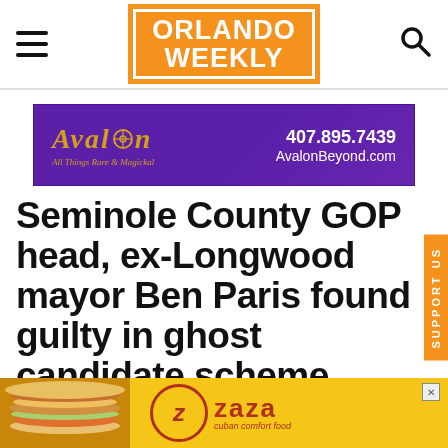Orlando Weekly
[Figure (illustration): Avalon advertisement banner. Purple background with gold Avalon logo text and tagline 'All Things Rare & Magickal'. Right side shows phone number 407.895.7439 and website AvalonBeyond.com in white text.]
Seminole County GOP head, ex-Longwood mayor Ben Paris found guilty in ghost candidate scheme
[Figure (illustration): Zaza Cuban Comfort Food advertisement. Yellow background with an image of a sandwich on the left and the Zaza logo in a red circle on the right with the tagline 'cuban comfort food'.]